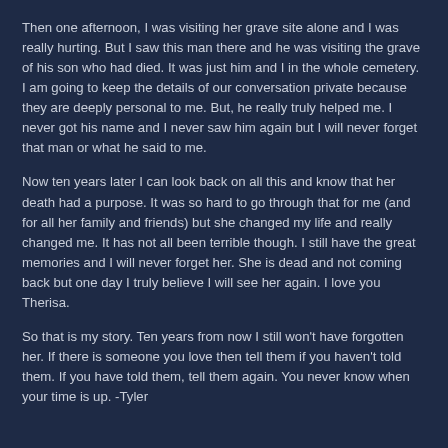Then one afternoon, I was visiting her grave site alone and I was really hurting. But I saw this man there and he was visiting the grave of his son who had died. It was just him and I in the whole cemetery. I am going to keep the details of our conversation private because they are deeply personal to me. But, he really truly helped me. I never got his name and I never saw him again but I will never forget that man or what he said to me.
Now ten years later I can look back on all this and know that her death had a purpose. It was so hard to go through that for me (and for all her family and friends) but she changed my life and really changed me. It has not all been terrible though. I still have the great memories and I will never forget her. She is dead and not coming back but one day I truly believe I will see her again. I love you Therisa.
So that is my story. Ten years from now I still won't have forgotten her. If there is someone you love then tell them if you haven't told them. If you have told them, tell them again. You never know when your time is up. -Tyler